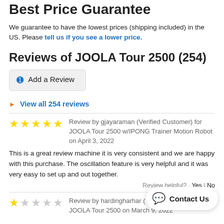Best Price Guarantee
We guarantee to have the lowest prices (shipping included) in the US. Please tell us if you see a lower price.
Reviews of JOOLA Tour 2500 (254)
Add a Review
View all 254 reviews
Review by gjayaraman (Verified Customer) for JOOLA Tour 2500 w/IPONG Trainer Motion Robot on April 3, 2022

This is a great review machine it is very consistent and we are happy with this purchase. The oscillation feature is very helpful and it was very easy to set up and out together.

Review helpful? Yes | No
Review by hardingharhar ( JOOLA Tour 2500 on March 9, 2022
Contact Us